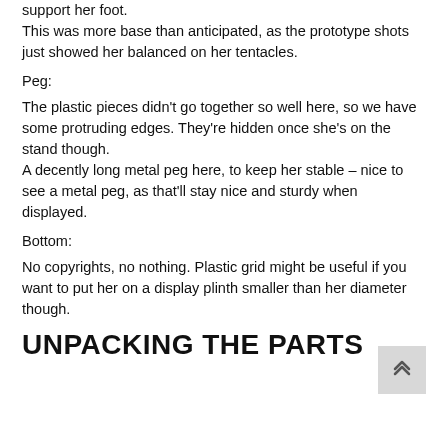support her foot. This was more base than anticipated, as the prototype shots just showed her balanced on her tentacles.
Peg:
The plastic pieces didn't go together so well here, so we have some protruding edges. They're hidden once she's on the stand though.
A decently long metal peg here, to keep her stable – nice to see a metal peg, as that'll stay nice and sturdy when displayed.
Bottom:
No copyrights, no nothing. Plastic grid might be useful if you want to put her on a display plinth smaller than her diameter though.
UNPACKING THE PARTS